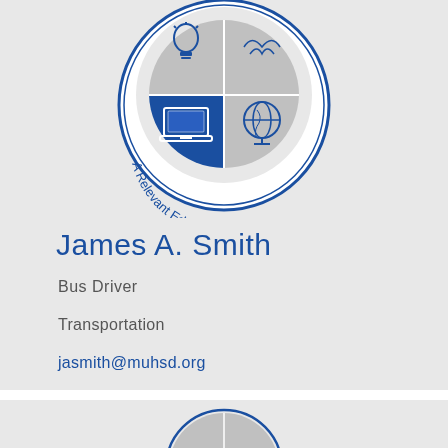[Figure (logo): School district circular logo with four quadrants showing a lightbulb, bird/seagull, laptop computer, and globe. Text around bottom reads 'A Relevant Education for All'. Logo is blue and gray.]
James A. Smith
Bus Driver
Transportation
jasmith@muhsd.org
[Figure (logo): Partial school district circular logo visible at bottom of page, same design as above.]